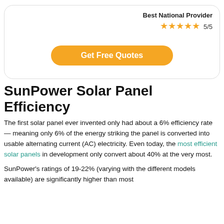[Figure (infographic): Card with Best National Provider badge showing 5/5 stars and Get Free Quotes button]
SunPower Solar Panel Efficiency
The first solar panel ever invented only had about a 6% efficiency rate — meaning only 6% of the energy striking the panel is converted into usable alternating current (AC) electricity. Even today, the most efficient solar panels in development only convert about 40% at the very most.
SunPower's ratings of 19-22% (varying with the different models available) are significantly higher than most